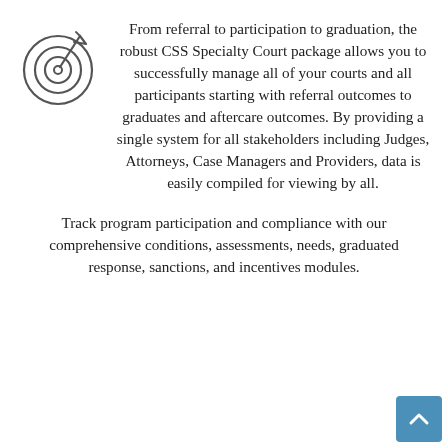[Figure (illustration): A target/bullseye icon with an arrow hitting the center, drawn in thin outline style]
From referral to participation to graduation, the robust CSS Specialty Court package allows you to successfully manage all of your courts and all participants starting with referral outcomes to graduates and aftercare outcomes. By providing a single system for all stakeholders including Judges, Attorneys, Case Managers and Providers, data is easily compiled for viewing by all.
Track program participation and compliance with our comprehensive conditions, assessments, needs, graduated response, sanctions, and incentives modules.